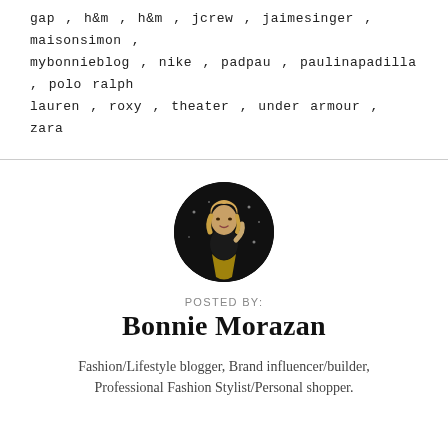gap , h&m , h&m , jcrew , jaimesinger , maisonsimon , mybonnieblog , nike , padpau , paulinapadilla , polo ralph lauren , roxy , theater , under armour , zara
[Figure (photo): Circular profile photo of Bonnie Morazan, a woman with blonde hair wearing a black top and gold skirt, standing in front of a dark background with light dots.]
POSTED BY:
Bonnie Morazan
Fashion/Lifestyle blogger, Brand influencer/builder, Professional Fashion Stylist/Personal shopper.